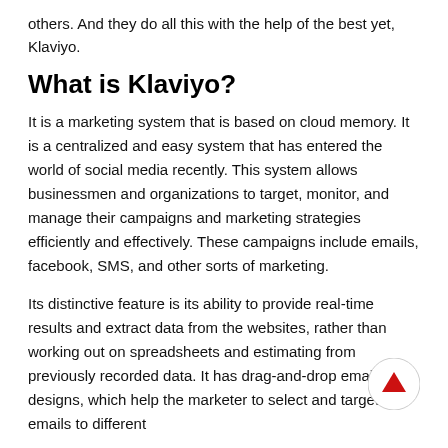others. And they do all this with the help of the best yet, Klaviyo.
What is Klaviyo?
It is a marketing system that is based on cloud memory. It is a centralized and easy system that has entered the world of social media recently. This system allows businessmen and organizations to target, monitor, and manage their campaigns and marketing strategies efficiently and effectively. These campaigns include emails, facebook, SMS, and other sorts of marketing.
Its distinctive feature is its ability to provide real-time results and extract data from the websites, rather than working out on spreadsheets and estimating from previously recorded data. It has drag-and-drop email designs, which help the marketer to select and target emails to different